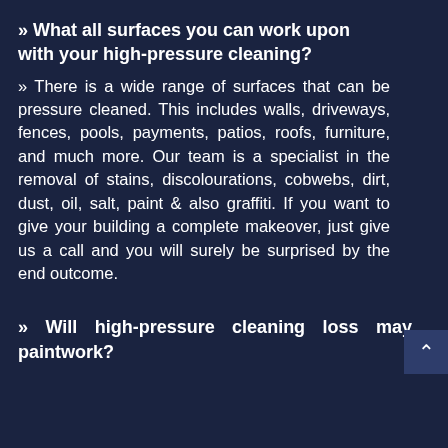» What all surfaces you can work upon with your high-pressure cleaning?
» There is a wide range of surfaces that can be pressure cleaned. This includes walls, driveways, fences, pools, payments, patios, roofs, furniture, and much more. Our team is a specialist in the removal of stains, discolourations, cobwebs, dirt, dust, oil, salt, paint & also graffiti. If you want to give your building a complete makeover, just give us a call and you will surely be surprised by the end outcome.
» Will high-pressure cleaning loss may paintwork?